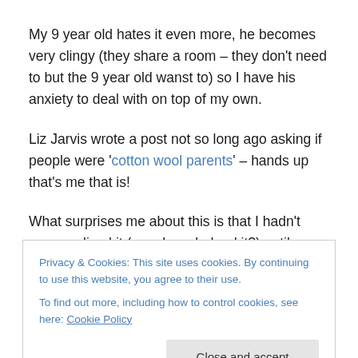My 9 year old hates it even more, he becomes very clingy (they share a room – they don't need to but the 9 year old wanst to) so I have his anxiety to deal with on top of my own.
Liz Jarvis wrote a post not so long ago asking if people were 'cotton wool parents' – hands up that's me that is!
What surprises me about this is that I hadn't even realised it (or acknowledged it?) until recently, I thought I was pretty laid back and that I was leading my children towards
Privacy & Cookies: This site uses cookies. By continuing to use this website, you agree to their use.
To find out more, including how to control cookies, see here: Cookie Policy
Close and accept
proper  conversations about real things.